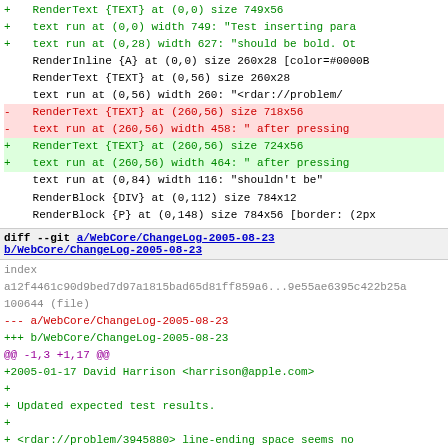Render tree diff output showing added/removed lines with green/red highlighting
diff --git a/WebCore/ChangeLog-2005-08-23 b/WebCore/ChangeLog-2005-08-23
index a12f4461c90d9bed7d97a1815bad65d81ff859a6...9e55ae6395c422b25a
100644 (file)
--- a/WebCore/ChangeLog-2005-08-23
+++ b/WebCore/ChangeLog-2005-08-23
@@ -1,3 +1,17 @@
+2005-01-17  David Harrison  <harrison@apple.com>
+
+        Updated expected test results.
+
+        <rdar://problem/3945880> line-ending space seems no
+
+        * layout-tests/editing/deleting/delete-ws-fixup-001
+        * layout-tests/editing/deleting/delete-ws-fixup-002
+        * layout-tests/editing/inserting/insert-div-020-exp
+        * layout-tests/editing/inserting/insert-div-021-